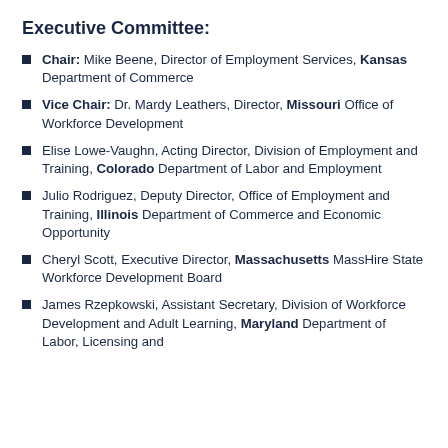Executive Committee:
Chair: Mike Beene, Director of Employment Services, Kansas Department of Commerce
Vice Chair: Dr. Mardy Leathers, Director, Missouri Office of Workforce Development
Elise Lowe-Vaughn, Acting Director, Division of Employment and Training, Colorado Department of Labor and Employment
Julio Rodriguez, Deputy Director, Office of Employment and Training, Illinois Department of Commerce and Economic Opportunity
Cheryl Scott, Executive Director, Massachusetts MassHire State Workforce Development Board
James Rzepkowski, Assistant Secretary, Division of Workforce Development and Adult Learning, Maryland Department of Labor, Licensing and